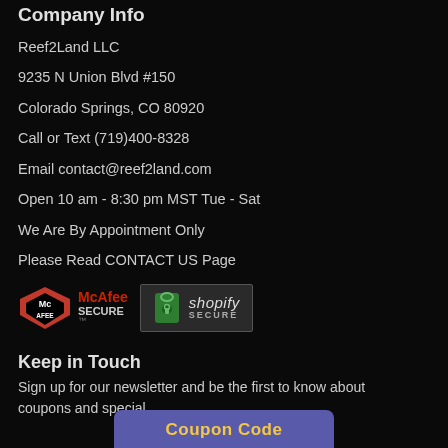Company Info
Reef2Land LLC
9235 N Union Blvd #150
Colorado Springs, CO 80920
Call or Text (719)400-8328
Email contact@reef2land.com
Open 10 am - 8:30 pm MST Tue - Sat
We Are By Appointment Only
Please Read CONTACT US Page
[Figure (logo): McAfee SECURE badge and Shopify Secure badge displayed side by side]
Keep in Touch
Sign up for our newsletter and be the first to know about coupons and special
Coupon Code